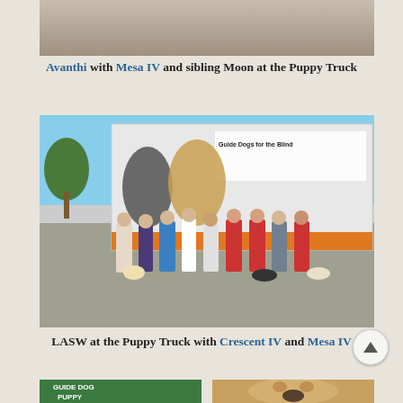[Figure (photo): Partial photo of a person with legs visible near a vehicle, cropped at top of page]
Avanthi with Mesa IV and sibling Moon at the Puppy Truck
[Figure (photo): Group of people standing in front of a Guide Dogs for the Blind Puppy Truck trailer, with several guide dogs in training]
LASW at the Puppy Truck with Crescent IV and Mesa IV
[Figure (photo): Two partial photos at bottom: left shows a green guide dog puppy vest, right shows a golden dog face close-up]